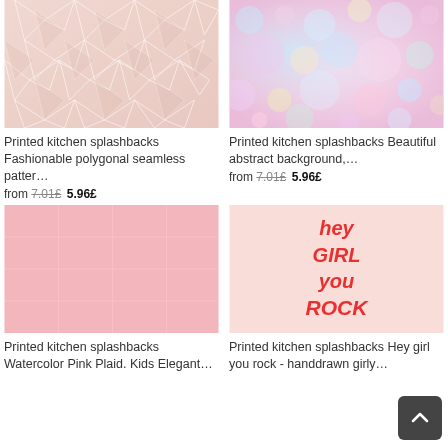[Figure (illustration): Pink geometric polygonal seamless pattern thumbnail]
Printed kitchen splashbacks Fashionable polygonal seamless patter…
from 7.01£ 5.96£
[Figure (photo): Pastel bokeh abstract background with pink and blue glitter]
Printed kitchen splashbacks Beautiful abstract background,…
from 7.01£ 5.96£
[Figure (illustration): Solid light pink / watercolor pink plaid background]
Printed kitchen splashbacks Watercolor Pink Plaid. Kids Elegant…
[Figure (illustration): Hey girl you rock - handdrawn girly lettering on pink background]
Printed kitchen splashbacks Hey girl you rock - handdrawn girly…